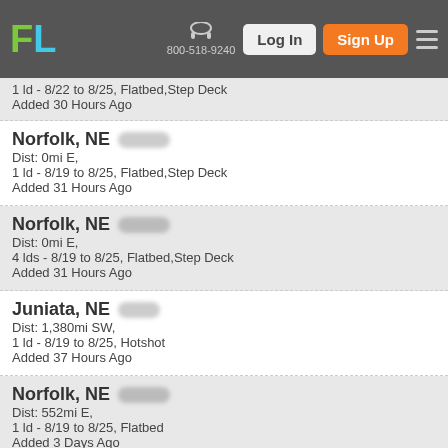FL | 800-518-9240 | Log In | Sign Up
1 ld - 8/22 to 8/25, Flatbed, Step Deck
Added 30 Hours Ago
Norfolk, NE
Dist: 0mi E,
1 ld - 8/19 to 8/25, Flatbed, Step Deck
Added 31 Hours Ago
Norfolk, NE
Dist: 0mi E,
4 lds - 8/19 to 8/25, Flatbed, Step Deck
Added 31 Hours Ago
Juniata, NE
Dist: 1,380mi SW,
1 ld - 8/19 to 8/25, Hotshot
Added 37 Hours Ago
Norfolk, NE
Dist: 552mi E,
1 ld - 8/19 to 8/25, Flatbed
Added 3 Days Ago
Norfolk, NE
Dist: 552mi E,
1 ld - 8/19 to 8/25, Flatbed, Step Deck